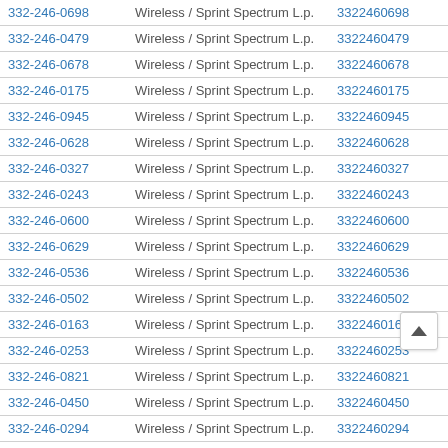| Phone | Carrier | Number | Action |
| --- | --- | --- | --- |
| 332-246-0698 | Wireless / Sprint Spectrum L.p. | 3322460698 | View |
| 332-246-0479 | Wireless / Sprint Spectrum L.p. | 3322460479 | View |
| 332-246-0678 | Wireless / Sprint Spectrum L.p. | 3322460678 | View |
| 332-246-0175 | Wireless / Sprint Spectrum L.p. | 3322460175 | View |
| 332-246-0945 | Wireless / Sprint Spectrum L.p. | 3322460945 | View |
| 332-246-0628 | Wireless / Sprint Spectrum L.p. | 3322460628 | View |
| 332-246-0327 | Wireless / Sprint Spectrum L.p. | 3322460327 | View |
| 332-246-0243 | Wireless / Sprint Spectrum L.p. | 3322460243 | View |
| 332-246-0600 | Wireless / Sprint Spectrum L.p. | 3322460600 | View |
| 332-246-0629 | Wireless / Sprint Spectrum L.p. | 3322460629 | View |
| 332-246-0536 | Wireless / Sprint Spectrum L.p. | 3322460536 | View |
| 332-246-0502 | Wireless / Sprint Spectrum L.p. | 3322460502 | View |
| 332-246-0163 | Wireless / Sprint Spectrum L.p. | 3322460163 | View |
| 332-246-0253 | Wireless / Sprint Spectrum L.p. | 3322460253 | View |
| 332-246-0821 | Wireless / Sprint Spectrum L.p. | 3322460821 | View |
| 332-246-0450 | Wireless / Sprint Spectrum L.p. | 3322460450 | View |
| 332-246-0294 | Wireless / Sprint Spectrum L.p. | 3322460294 | View |
| 332-246-0369 | Wireless / Sprint Spectrum L.p. | 3322460369 | View |
| 332-246-0… | Wireless / Sprint Spectrum L.p. | 33224604… | View |